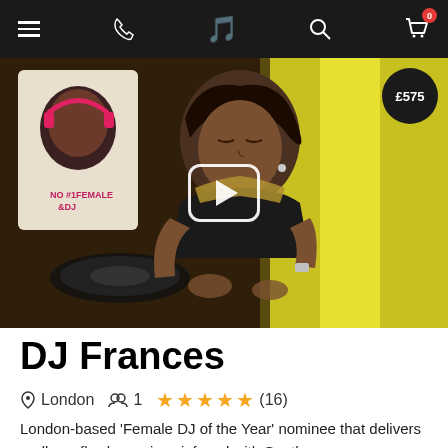Navigation bar with menu, phone, logo, search, and cart (0) icons
[Figure (photo): DJ Frances performing at an outdoor event, wearing a black and gold outfit, looking down at DJ equipment. A colourful illustrated banner is visible to the left. Price tag shows £575.]
DJ Frances
London   1   ★★★★★ (16)
London-based 'Female DJ of the Year' nominee that delivers endless, flawless mixes infused with South